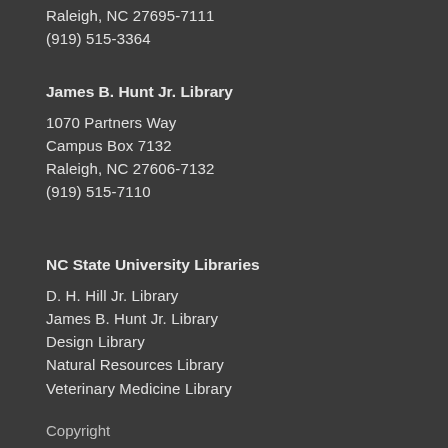Raleigh, NC 27695-7111
(919) 515-3364
James B. Hunt Jr. Library
1070 Partners Way
Campus Box 7132
Raleigh, NC 27606-7132
(919) 515-7110
NC State University Libraries
D. H. Hill Jr. Library
James B. Hunt Jr. Library
Design Library
Natural Resources Library
Veterinary Medicine Library
Copyright